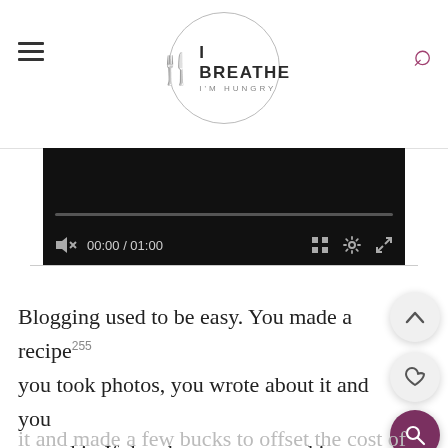I BREATHE I'M HUNGRY
[Figure (screenshot): Video player with black background showing progress bar at 00:00 / 01:00 with playback controls]
Blogging used to be easy. You made a recipe, you took photos, you wrote about it and you posted it. If the photos were good it got pinned a bunch on Pinterest, and you got some traffic on it and made a few bucks to offset the cost of